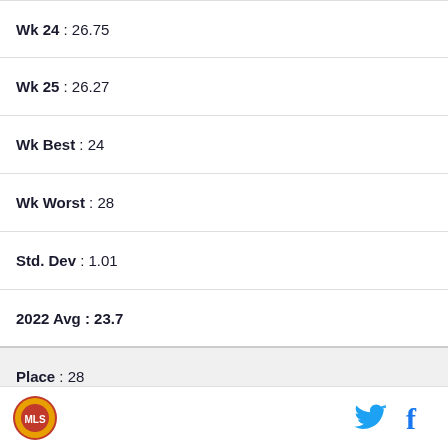| Wk 24 : 26.75 |
| Wk 25 : 26.27 |
| Wk Best : 24 |
| Wk Worst : 28 |
| Std. Dev : 1.01 |
| 2022 Avg : 23.7 |
| Place : 28 |
| Team : D.C. United |
| Wk 24 : 27.58 |
| Wk 25 : 27.73 |
| Wk Best : 27 |
Logo | Twitter | Facebook